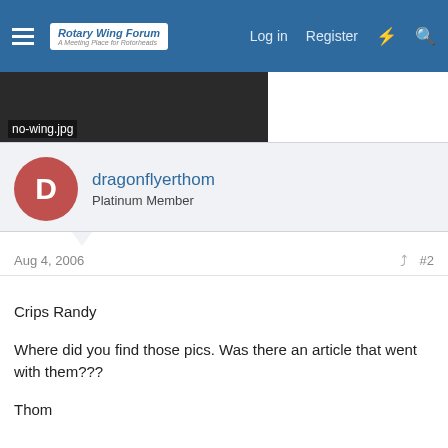Rotary Wing Forum | Log in | Register
[Figure (screenshot): Partial image attachment labeled no-wing.jpg, dark blurred photo]
dragonflyerthom
Platinum Member
Aug 4, 2006
#2
Crips Randy

Where did you find those pics. Was there an article that went with them???

Thom
scottessex
Sling-Wing Pilot